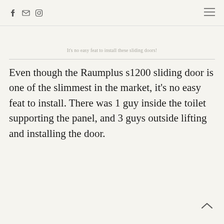[social icons: Facebook, Email, Instagram] [hamburger menu]
It's no easy feat to install these sliding doors!
Even though the Raumplus s1200 sliding door is one of the slimmest in the market, it's no easy feat to install. There was 1 guy inside the toilet supporting the panel, and 3 guys outside lifting and installing the door.